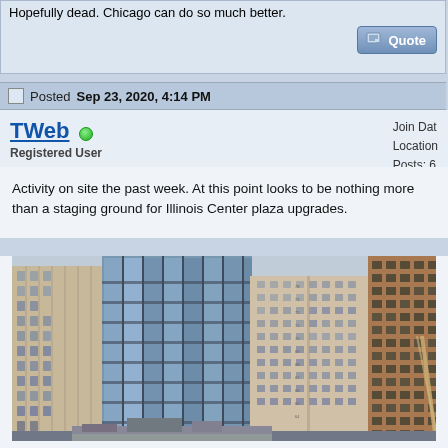Hopefully dead. Chicago can do so much better.
Posted Sep 23, 2020, 4:14 PM
TWeb
Registered User
Join Date:
Location:
Posts: 6
Activity on site the past week. At this point looks to be nothing more than a staging ground for Illinois Center plaza upgrades.
[Figure (photo): Photograph of Chicago downtown skyscrapers including Illinois Center buildings viewed from street level]